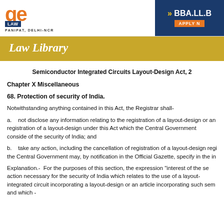[Figure (logo): GE Institute of Law logo with orange letters, LAW box, PANIPAT, DELHI-NCR text, and BBA.LL.B / APPLY NOW on dark blue right panel]
Law Library
Semiconductor Integrated Circuits Layout-Design Act, 2
Chapter X Miscellaneous
68. Protection of security of India.
Notwithstanding anything contained in this Act, the Registrar shall-
a.   not disclose any information relating to the registration of a layout-design or an registration of a layout-design under this Act which the Central Government considers of the security of India; and
b.   take any action, including the cancellation of registration of a layout-design registered the Central Government may, by notification in the Official Gazette, specify in the in
Explanation.- For the purposes of this section, the expression "interest of the security" action necessary for the security of India which relates to the use of a layout-design integrated circuit incorporating a layout-design or an article incorporating such semiconductor and which -